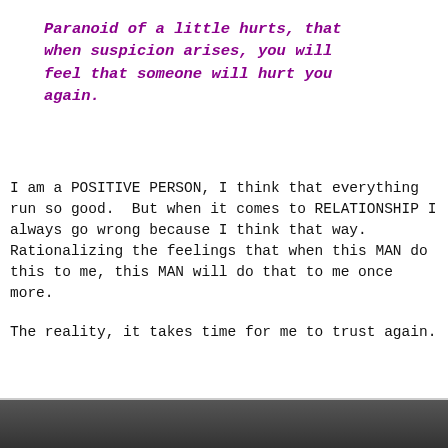Paranoid of a little hurts, that when suspicion arises, you will feel that someone will hurt you again.
I am a POSITIVE PERSON, I think that everything run so good.  But when it comes to RELATIONSHIP I always go wrong because I think that way. Rationalizing the feelings that when this MAN do this to me, this MAN will do that to me once more.
The reality, it takes time for me to trust again.
[Figure (photo): Partial image visible at bottom of page, appears dark/brown toned]